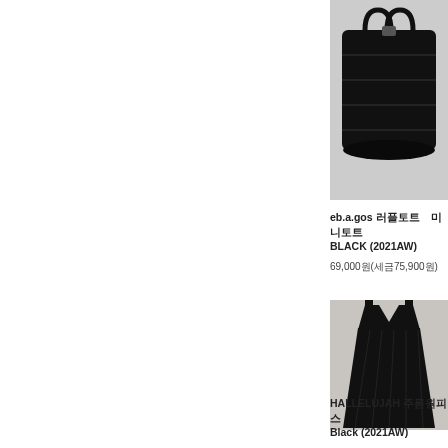[Figure (photo): Black textured tote bag on light background]
eb.a.gos [text] [text] BLACK (2021AW)
69,000[won]([text]75,900[won])
[Figure (photo): Black sleeveless pleated dress on grey background]
HALLELUJAH [text] Black (2021AW)
SOLD OUT